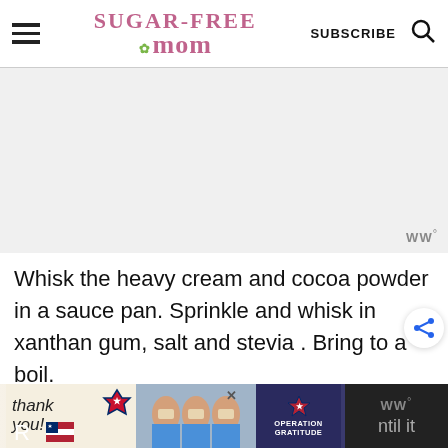Sugar-Free Mom — SUBSCRIBE [search]
[Figure (other): Gray blank advertisement/image placeholder area with WW logo in bottom right corner]
Whisk the heavy cream and cocoa powder in a sauce pan. Sprinkle and whisk in xanthan gum, salt and stevia . Bring to a boil.
[Figure (other): Bottom advertisement banner: 'Thank you!' Operation Gratitude ad with people in masks holding cards, and a dismiss X button. Dark background on right side with partial text.]